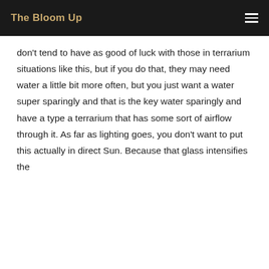The Bloom Up
don't tend to have as good of luck with those in terrarium situations like this, but if you do that, they may need water a little bit more often, but you just want a water super sparingly and that is the key water sparingly and have a type a terrarium that has some sort of airflow through it. As far as lighting goes, you don't want to put this actually in direct Sun. Because that glass intensifies the